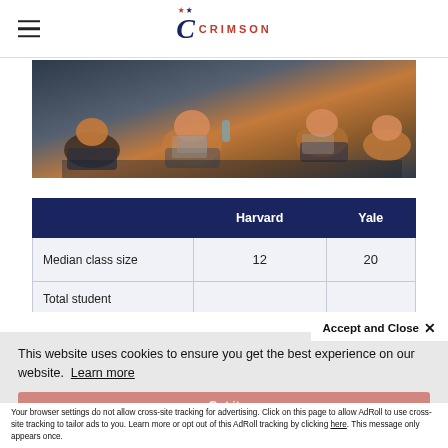CRIMSON
[Figure (photo): Classroom photo showing students seated with laptops and devices, overhead view]
|  | Harvard | Yale |
| --- | --- | --- |
| Median class size | 12 | 20 |
| Total student |  |  |
This website uses cookies to ensure you get the best experience on our website. Learn more
Accept and Close ×
Your browser settings do not allow cross-site tracking for advertising. Click on this page to allow AdRoll to use cross-site tracking to tailor ads to you. Learn more or opt out of this AdRoll tracking by clicking here. This message only appears once.